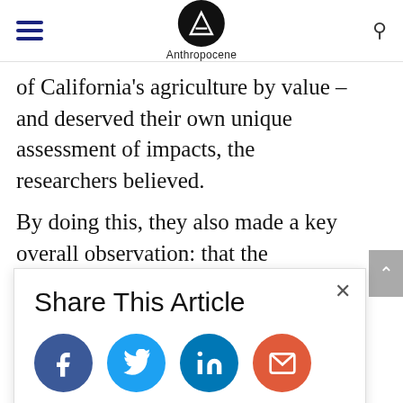Anthropocene
of California's agriculture by value – and deserved their own unique assessment of impacts, the researchers believed.
By doing this, they also made a key overall observation: that the influence of ozone on the productivity of these particular crops was actually far greater
Share This Article